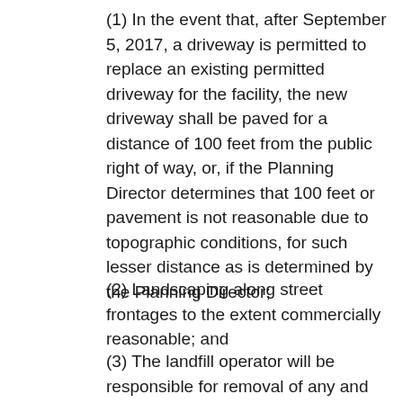(1) In the event that, after September 5, 2017, a driveway is permitted to replace an existing permitted driveway for the facility, the new driveway shall be paved for a distance of 100 feet from the public right of way, or, if the Planning Director determines that 100 feet or pavement is not reasonable due to topographic conditions, for such lesser distance as is determined by the Planning Director;
(2) Landscaping along street frontages to the extent commercially reasonable; and
(3) The landfill operator will be responsible for removal of any and all debris, dirt, or other materials which fall from trucks entering or leaving the